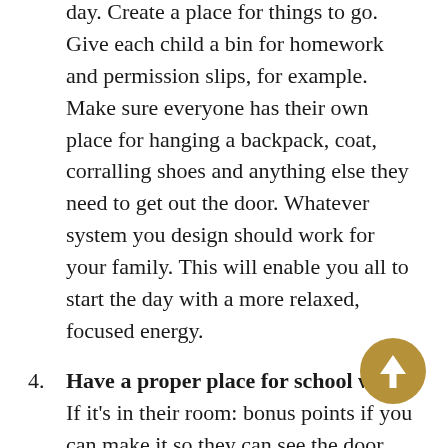day. Create a place for things to go. Give each child a bin for homework and permission slips, for example. Make sure everyone has their own place for hanging a backpack, coat, corralling shoes and anything else they need to get out the door. Whatever system you design should work for your family. This will enable you all to start the day with a more relaxed, focused energy.
4. Have a proper place for school work. If it's in their room: bonus points if you can make it so they can see the door (they can both literally and metaphorically see what's coming). Too often it's left to